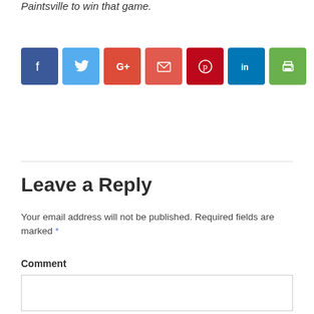Paintsville to win that game.
[Figure (infographic): Social share buttons: Facebook (dark blue), Twitter (light blue), Google+ (orange-red), Email (red), Pinterest (dark red), LinkedIn (teal blue), Print (green)]
Leave a Reply
Your email address will not be published. Required fields are marked *
Comment
[Figure (screenshot): Empty comment text area input box]